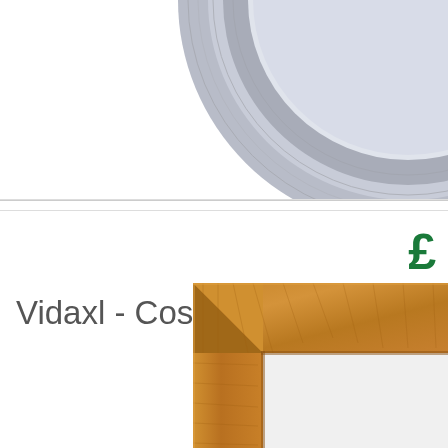[Figure (photo): Partial view of a round cosmetic mirror with grey/blue decorative frame, cropped at top-right]
£
Vidaxl - Cosmetic Mirror 5
B
[Figure (photo): Partial view of a wooden framed mirror, showing top-left corner of a light oak/teak wood frame, cropped at bottom-right]